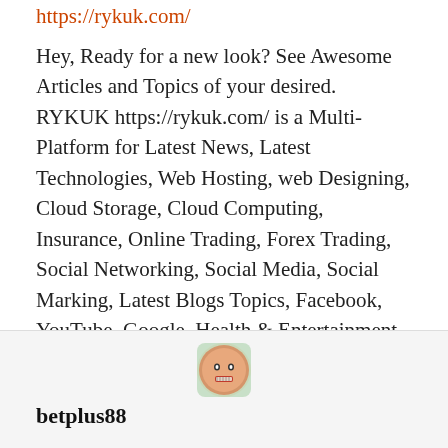https://rykuk.com/
Hey, Ready for a new look? See Awesome Articles and Topics of your desired. RYKUK https://rykuk.com/ is a Multi-Platform for Latest News, Latest Technologies, Web Hosting, web Designing, Cloud Storage, Cloud Computing, Insurance, Online Trading, Forex Trading, Social Networking, Social Media, Social Marking, Latest Blogs Topics, Facebook, YouTube, Google, Health & Entertainment with 10000+ Trending Ideas. https://rykuk.com/
★ Like
Reply ↓
betplus88